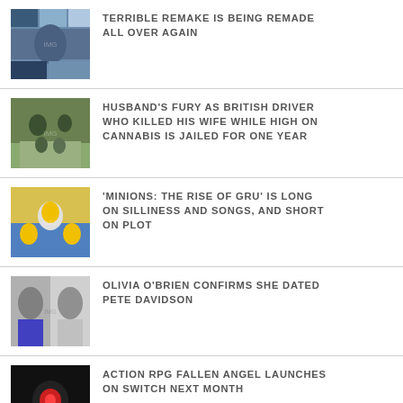TERRIBLE REMAKE IS BEING REMADE ALL OVER AGAIN
HUSBAND'S FURY AS BRITISH DRIVER WHO KILLED HIS WIFE WHILE HIGH ON CANNABIS IS JAILED FOR ONE YEAR
'MINIONS: THE RISE OF GRU' IS LONG ON SILLINESS AND SONGS, AND SHORT ON PLOT
OLIVIA O'BRIEN CONFIRMS SHE DATED PETE DAVIDSON
ACTION RPG FALLEN ANGEL LAUNCHES ON SWITCH NEXT MONTH